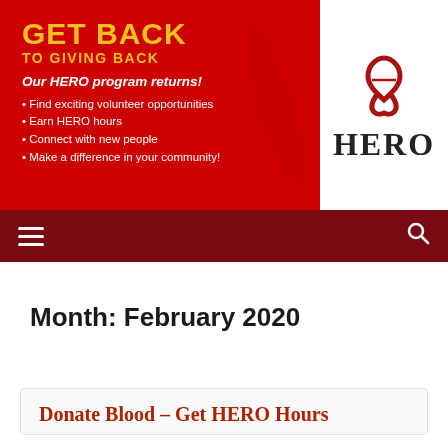[Figure (infographic): Red banner with 'GET BACK TO GIVING BACK' headline in gold, italic tagline 'Our HERO program returns!', bullet points in white, and a decorative leaf watermark. Right side shows white panel with HERO ribbon logo and HERO text.]
Navigation bar with hamburger menu and search icon
Month: February 2020
Donate Blood – Get HERO Hours